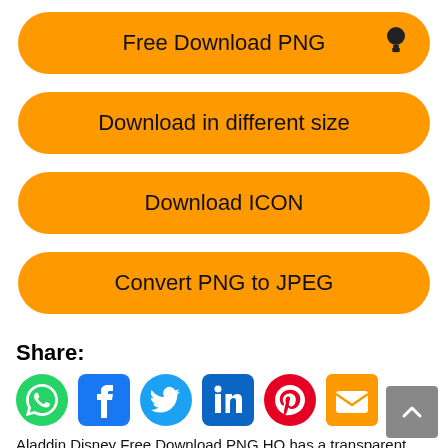Free Download PNG
Download in different size
Download ICON
Convert PNG to JPEG
Share:
[Figure (infographic): Social share icons: WhatsApp, Facebook, Twitter, LinkedIn, Pinterest, Email]
Aladdin Disney Free Download PNG HQ has a transparent background.
This PNG has a resolution of 636x527. You can download the PNG for free in the best resolution and use it for design other purposes. Aladdin Disney Free Download PNG HQ just